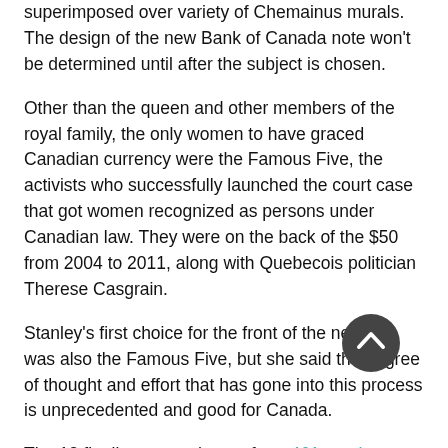superimposed over variety of Chemainus murals. The design of the new Bank of Canada note won't be determined until after the subject is chosen.
Other than the queen and other members of the royal family, the only women to have graced Canadian currency were the Famous Five, the activists who successfully launched the court case that got women recognized as persons under Canadian law. They were on the back of the $50 from 2004 to 2011, along with Quebecois politician Therese Casgrain.
Stanley's first choice for the front of the new bill was also the Famous Five, but she said the degree of thought and effort that has gone into this process is unprecedented and good for Canada.
The 12 finalists were chosen from 461 nominees submitted